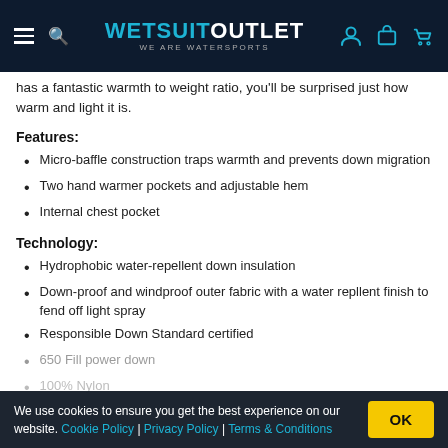WETSUIT OUTLET — WE ARE WATERSPORTS
has a fantastic warmth to weight ratio, you'll be surprised just how warm and light it is.
Features:
Micro-baffle construction traps warmth and prevents down migration
Two hand warmer pockets and adjustable hem
Internal chest pocket
Technology:
Hydrophobic water-repellent down insulation
Down-proof and windproof outer fabric with a water repllent finish to fend off light spray
Responsible Down Standard certified
650 Fill power down
100% Nylon
We use cookies to ensure you get the best experience on our website. Cookie Policy | Privacy Policy | Terms & Conditions